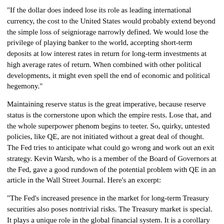"If the dollar does indeed lose its role as leading international currency, the cost to the United States would probably extend beyond the simple loss of seigniorage narrowly defined. We would lose the privilege of playing banker to the world, accepting short-term deposits at low interest rates in return for long-term investments at high average rates of return. When combined with other political developments, it might even spell the end of economic and political hegemony."
Maintaining reserve status is the great imperative, because reserve status is the cornerstone upon which the empire rests. Lose that, and the whole superpower phenom begins to teeter. So, quirky, untested policies, like QE, are not initiated without a great deal of thought. The Fed tries to anticipate what could go wrong and work out an exit strategy. Kevin Warsh, who is a member of the Board of Governors at the Fed, gave a good rundown of the potential problem with QE in an article in the Wall Street Journal. Here's an excerpt:
"The Fed's increased presence in the market for long-term Treasury securities also poses nontrivial risks. The Treasury market is special. It plays a unique role in the global financial system. It is a corollary to the dollar's role as the world's reserve currency. The prices assigned to Treasury securities -- the risk-free rate -- are the foundation from which the price of virtually every asset in the world is calculated.